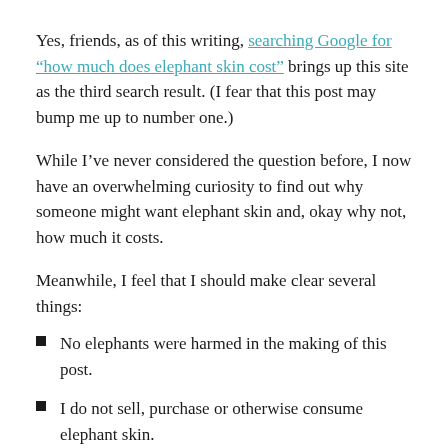Yes, friends, as of this writing, searching Google for “how much does elephant skin cost” brings up this site as the third search result. (I fear that this post may bump me up to number one.)
While I’ve never considered the question before, I now have an overwhelming curiosity to find out why someone might want elephant skin and, okay why not, how much it costs.
Meanwhile, I feel that I should make clear several things:
No elephants were harmed in the making of this post.
I do not sell, purchase or otherwise consume elephant skin.
Eat your heart out, SEO fanatics: I’m in Google’s top ten for “how much does elephant skin cost” without even trying.